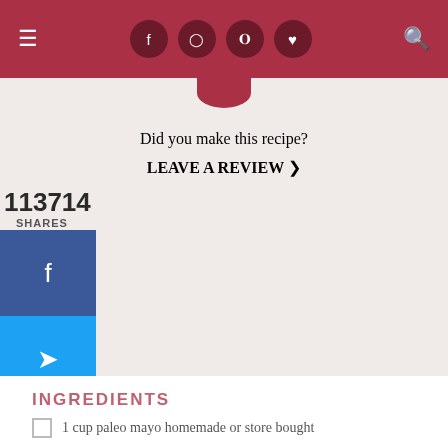Navigation header with hamburger menu, social icons (Facebook, Instagram, Pinterest, Heart), and search icon
Did you make this recipe?
LEAVE A REVIEW >
113714
SHARES
[Figure (infographic): Social share buttons: Facebook (blue), Twitter (light blue), Pinterest (red)]
INGREDIENTS
1 cup paleo mayo homemade or store bought